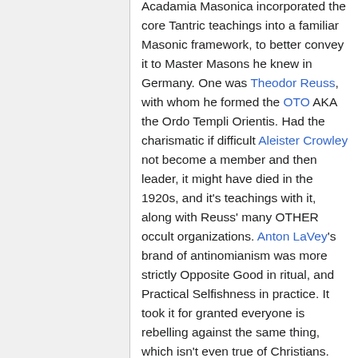Acadamia Masonica incorporated the core Tantric teachings into a familiar Masonic framework, to better convey it to Master Masons he knew in Germany. One was Theodor Reuss, with whom he formed the OTO AKA the Ordo Templi Orientis. Had the charismatic if difficult Aleister Crowley not become a member and then leader, it might have died in the 1920s, and it's teachings with it, along with Reuss' many OTHER occult organizations. Anton LaVey's brand of antinomianism was more strictly Opposite Good in ritual, and Practical Selfishness in practice. It took it for granted everyone is rebelling against the same thing, which isn't even true of Christians. What do people need to "break" and release life crushing burdens? It is very individual, and the